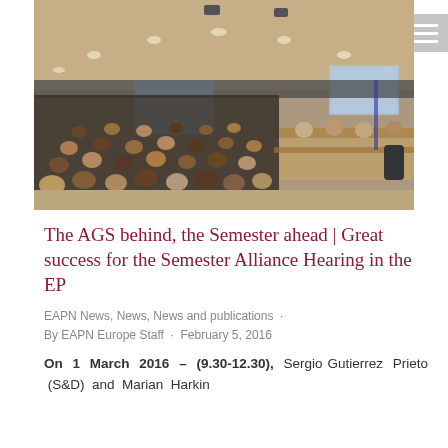[Figure (photo): A large conference hearing room, possibly the European Parliament, packed with attendees seated at tiered rows of desks. A panel sits at the front. Large projection screens are visible on either side. The room has a circular amphitheater style layout with warm wood-toned furniture.]
The AGS behind, the Semester ahead | Great success for the Semester Alliance Hearing in the EP
EAPN News, News, News and publications · By EAPN Europe Staff · February 5, 2016
On 1 March 2016 – (9.30-12.30), Sergio Gutierrez Prieto (S&D) and Marian Harkin